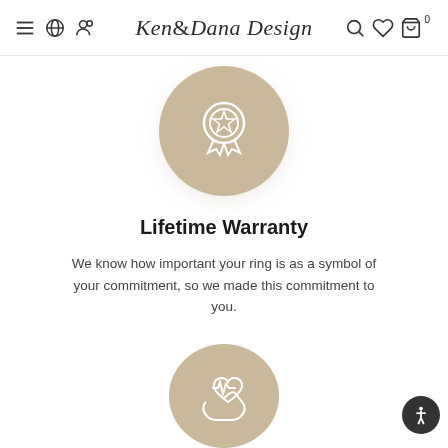Ken & Dana Design
[Figure (illustration): Circular tan/beige badge icon with a medal/ribbon award symbol in white outline on tan background]
Lifetime Warranty
We know how important your ring is as a symbol of your commitment, so we made this commitment to you.
[Figure (illustration): Circular tan/beige icon with a heart and hands with heartbeat line symbol in white outline, partially visible]